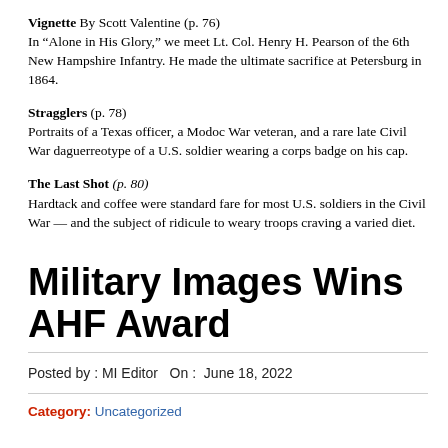Vignette By Scott Valentine (p. 76)
In “Alone in His Glory,” we meet Lt. Col. Henry H. Pearson of the 6th New Hampshire Infantry. He made the ultimate sacrifice at Petersburg in 1864.
Stragglers (p. 78)
Portraits of a Texas officer, a Modoc War veteran, and a rare late Civil War daguerreotype of a U.S. soldier wearing a corps badge on his cap.
The Last Shot (p. 80)
Hardtack and coffee were standard fare for most U.S. soldiers in the Civil War — and the subject of ridicule to weary troops craving a varied diet.
Military Images Wins AHF Award
Posted by : MI Editor  On :  June 18, 2022
Category: Uncategorized